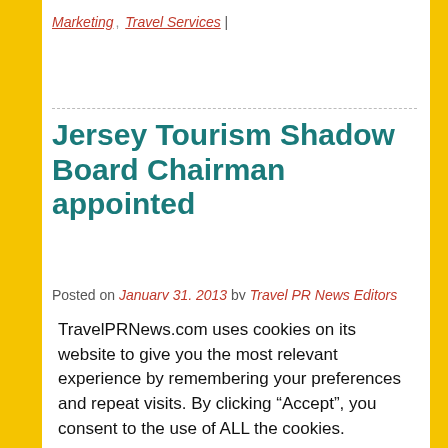Marketing, Travel Services |
Jersey Tourism Shadow Board Chairman appointed
Posted on January 31, 2013 by Travel PR News Editors
2013-01-31 — /travelprnews.com/ — Following the recent States decision to appoint a Shadow Board for Jersey Tourism, local businessman John Henwood has been appointed Chairman. The Board also consists...
TravelPRNews.com uses cookies on its website to give you the most relevant experience by remembering your preferences and repeat visits. By clicking “Accept”, you consent to the use of ALL the cookies.